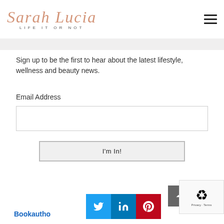Sarah Lucia - LIFE IT OR NOT
Sign up to be the first to hear about the latest lifestyle, wellness and beauty news.
Email Address
[Figure (screenshot): Email address input field - empty text box]
[Figure (screenshot): I'm In! submit button]
[Figure (logo): BookAuthor logo with blue circle and social media icons for Twitter, LinkedIn, Pinterest]
[Figure (screenshot): reCAPTCHA badge with Privacy and Terms links]